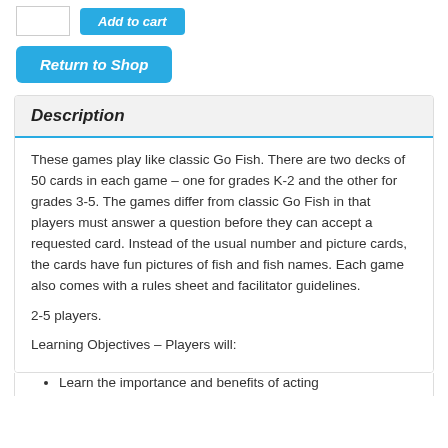Description
These games play like classic Go Fish. There are two decks of 50 cards in each game – one for grades K-2 and the other for grades 3-5. The games differ from classic Go Fish in that players must answer a question before they can accept a requested card. Instead of the usual number and picture cards, the cards have fun pictures of fish and fish names. Each game also comes with a rules sheet and facilitator guidelines.
2-5 players.
Learning Objectives – Players will:
Learn the importance and benefits of acting